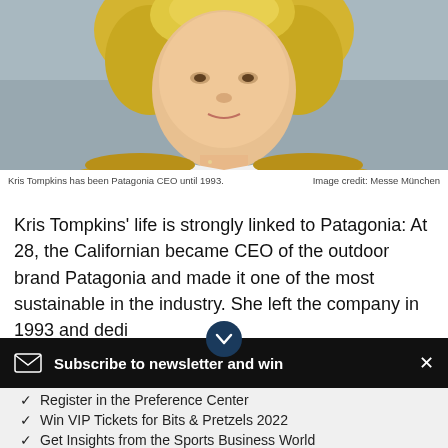[Figure (photo): Portrait photo of Kris Tompkins, a woman with curly blonde hair wearing a yellow/mustard cardigan over a white shirt, photographed outdoors]
Kris Tompkins has been Patagonia CEO until 1993.	Image credit: Messe München
Kris Tompkins' life is strongly linked to Patagonia: At 28, the Californian became CEO of the outdoor brand Patagonia and made it one of the most sustainable in the industry. She left the company in 1993 and dedicated herself entirely to
Subscribe to newsletter and win
Register in the Preference Center
Win VIP Tickets for Bits & Pretzels 2022
Get Insights from the Sports Business World